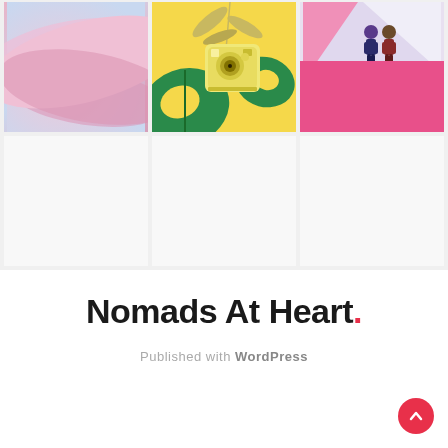[Figure (photo): Top row of a 3-column photo grid. Left: pink and blue wavy abstract. Center: yellow background with Instax mini camera and tropical green leaves. Right: geometric shapes in lavender, white and hot pink with two small toy figurines.]
[Figure (photo): Bottom row of a 3-column photo grid. Three white/light gray empty placeholder cells.]
Nomads At Heart.
Published with WordPress